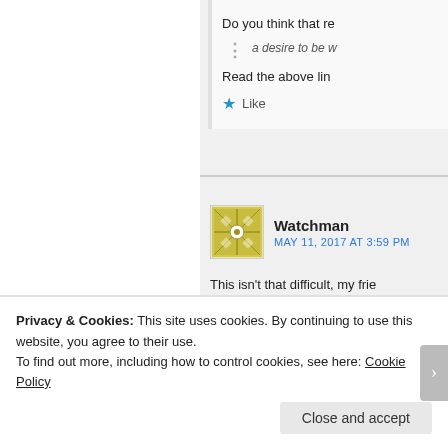Do you think that re
a desire to be w
Read the above lin
Like
Watchman
MAY 11, 2017 AT 3:59 PM
This isn't that difficult, my frie different people. Scotland is from Ireland and were Gaelic by the Lowland Scots and Eng
Privacy & Cookies: This site uses cookies. By continuing to use this website, you agree to their use.
To find out more, including how to control cookies, see here: Cookie Policy
Close and accept